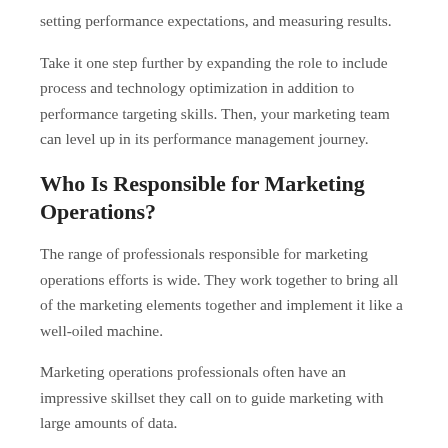setting performance expectations, and measuring results.
Take it one step further by expanding the role to include process and technology optimization in addition to performance targeting skills. Then, your marketing team can level up in its performance management journey.
Who Is Responsible for Marketing Operations?
The range of professionals responsible for marketing operations efforts is wide. They work together to bring all of the marketing elements together and implement it like a well-oiled machine.
Marketing operations professionals often have an impressive skillset they call on to guide marketing with large amounts of data.